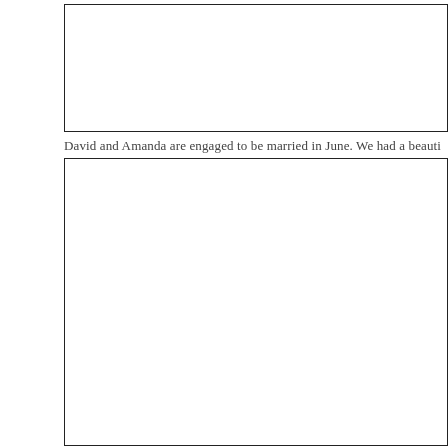[Figure (photo): Empty framed photo/image box at the top of the page]
David and Amanda are engaged to be married in June. We had a beauti
[Figure (photo): Empty framed photo/image box at the bottom of the page]